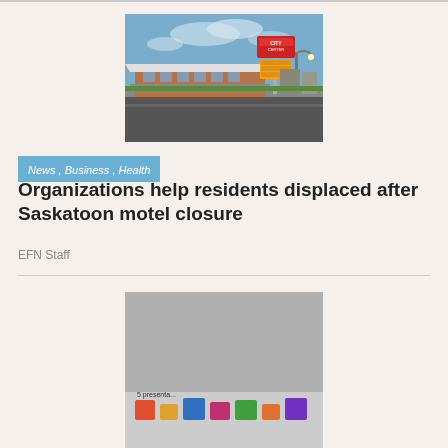[Figure (photo): Exterior photo of City Center Inn & Suites motel in Saskatoon, showing the building, signage, and an empty road in front.]
News , Business , Health
Organizations help residents displaced after Saskatoon motel closure
EFN Staff
[Figure (photo): Partially visible second photo with colorful graphics and text reading '5 presenta...' — appears to be a promotional or event image.]